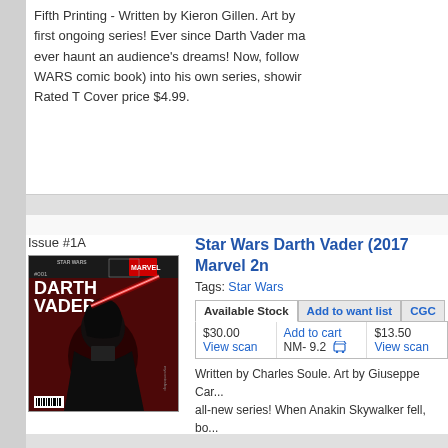Fifth Printing - Written by Kieron Gillen. Art by ... first ongoing series! Ever since Darth Vader ma... ever haunt an audience's dreams! Now, follow... WARS comic book) into his own series, showir... Rated T Cover price $4.99.
Issue #1A
[Figure (photo): Star Wars Darth Vader comic book cover showing Darth Vader with red lightsaber on dark red background. Title reads STAR WARS DARTH VADER.]
Star Wars Darth Vader (2017 Marvel 2n...
Tags: Star Wars
| Available Stock | Add to want list | CGC |
| $30.00
View scan | Add to cart
NM- 9.2 [cart icon] | $13.50
View scan |
Written by Charles Soule. Art by Giuseppe Car... all-new series! When Anakin Skywalker fell, bo... more machine than man. Having lost everythin... darker world…as Darth Vader, Dark Lord of the... formed Empire…the way of the dark side. 44 p...